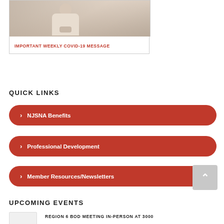[Figure (photo): Photo of a woman in a light-colored top, seated with hands clasped, in a blurred classroom or meeting room setting.]
IMPORTANT WEEKLY COVID-19 MESSAGE
QUICK LINKS
NJSNA Benefits
Professional Development
Member Resources/Newsletters
UPCOMING EVENTS
REGION 6 BOD MEETING IN-PERSON AT 3000